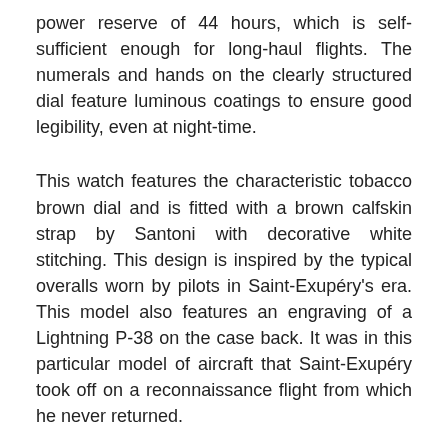power reserve of 44 hours, which is self-sufficient enough for long-haul flights. The numerals and hands on the clearly structured dial feature luminous coatings to ensure good legibility, even at night-time.
This watch features the characteristic tobacco brown dial and is fitted with a brown calfskin strap by Santoni with decorative white stitching. This design is inspired by the typical overalls worn by pilots in Saint-Exupéry's era. This model also features an engraving of a Lightning P-38 on the case back. It was in this particular model of aircraft that Saint-Exupéry took off on a reconnaissance flight from which he never returned.